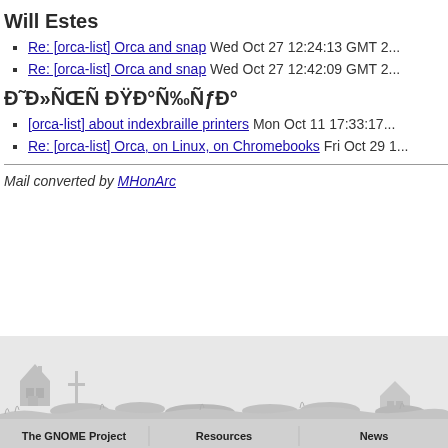Will Estes
Re: [orca-list] Orca and snap Wed Oct 27 12:24:13 GMT 2...
Re: [orca-list] Orca and snap Wed Oct 27 12:42:09 GMT 2...
Đ˜Đ»ÑŒÑ ĐŸĐ°Ñ‰ÑƒĐ°
[orca-list] about indexbraille printers Mon Oct 11 17:33:17...
Re: [orca-list] Orca, on Linux, on Chromebooks Fri Oct 29 1...
Mail converted by MHonArc
[Figure (illustration): GNOME website footer with silhouette landscape (houses, trees, grass) and bottom bar with The GNOME Project, Resources, News columns]